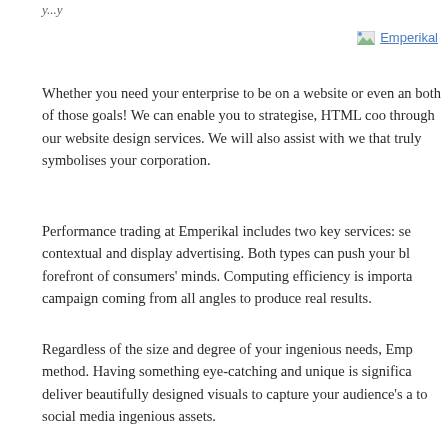y...y
[Figure (logo): Emperikal logo placeholder image with text link]
Whether you need your enterprise to be on a website or even an both of those goals! We can enable you to strategise, HTML coo through our website design services. We will also assist with we that truly symbolises your corporation.
Performance trading at Emperikal includes two key services: se contextual and display advertising. Both types can push your bl forefront of consumers' minds. Computing efficiency is importa campaign coming from all angles to produce real results.
Regardless of the size and degree of your ingenious needs, Emp method. Having something eye-catching and unique is significa deliver beautifully designed visuals to capture your audience's a to social media ingenious assets.